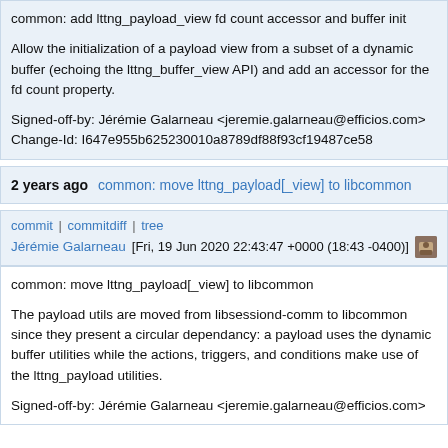common: add lttng_payload_view fd count accessor and buffer init

Allow the initialization of a payload view from a subset of a dynamic buffer (echoing the lttng_buffer_view API) and add an accessor for the fd count property.

Signed-off-by: Jérémie Galarneau <jeremie.galarneau@efficios.com>
Change-Id: I647e955b625230010a8789df88f93cf19487ce58
2 years ago   common: move lttng_payload[_view] to libcommon
commit | commitdiff | tree
Jérémie Galarneau [Fri, 19 Jun 2020 22:43:47 +0000 (18:43 -0400)]
common: move lttng_payload[_view] to libcommon

The payload utils are moved from libsessiond-comm to libcommon since they present a circular dependancy: a payload uses the dynamic buffer utilities while the actions, triggers, and conditions make use of the lttng_payload utilities.

Signed-off-by: Jérémie Galarneau <jeremie.galarneau@efficios.com>